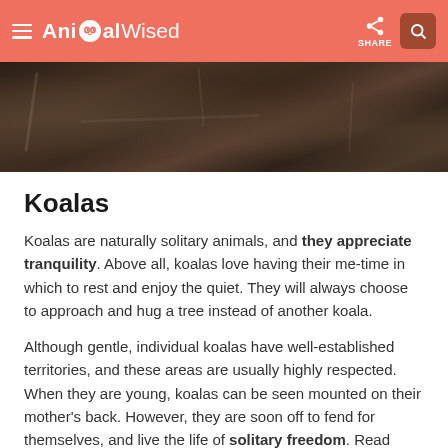AnimalWised — SHARE
[Figure (photo): Close-up photo of dark soil and bark texture background]
Koalas
Koalas are naturally solitary animals, and they appreciate tranquility. Above all, koalas love having their me-time in which to rest and enjoy the quiet. They will always choose to approach and hug a tree instead of another koala.
Although gentle, individual koalas have well-established territories, and these areas are usually highly respected. When they are young, koalas can be seen mounted on their mother's back. However, they are soon off to fend for themselves, and live the life of solitary freedom. Read more in our article about where koalas live.